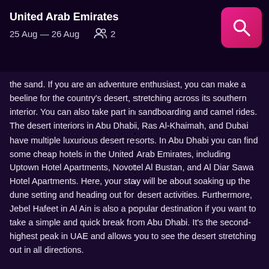United Arab Emirates
25 Aug — 26 Aug  2
the sand. If you are an adventure enthusiast, you can make a beeline for the country's desert, stretching across its southern interior. You can also take part in sandboarding and camel rides. The desert interiors in Abu Dhabi, Ras Al-Khaimah, and Dubai have multiple luxurious desert resorts. In Abu Dhabi you can find some cheap hotels in the United Arab Emirates, including Uptown Hotel Apartments, Novotel Al Bustan, and Al Diar Sawa Hotel Apartments. Here, your stay will be about soaking up the dune setting and heading out for desert activities. Furthermore, Jebel Hafeet in Al Ain is also a popular destination if you want to take a simple and quick break from Abu Dhabi. It's the second-highest peak in UAE and allows you to see the desert stretching out in all directions.
What cities in the United Arab Emirates have the best nightlife?
What cities in the United Arab Emirates